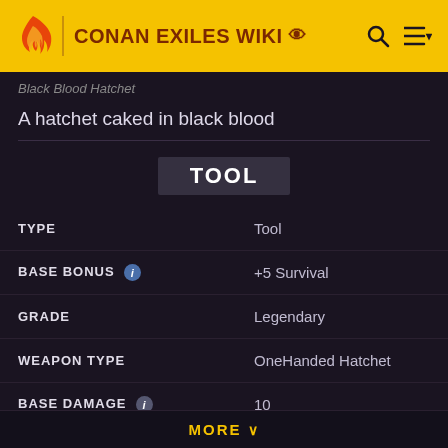CONAN EXILES WIKI
Black Blood Hatchet
A hatchet caked in black blood
TOOL
| Property | Value |
| --- | --- |
| TYPE | Tool |
| BASE BONUS | +5 Survival |
| GRADE | Legendary |
| WEAPON TYPE | OneHanded Hatchet |
| BASE DAMAGE | 10 |
MORE